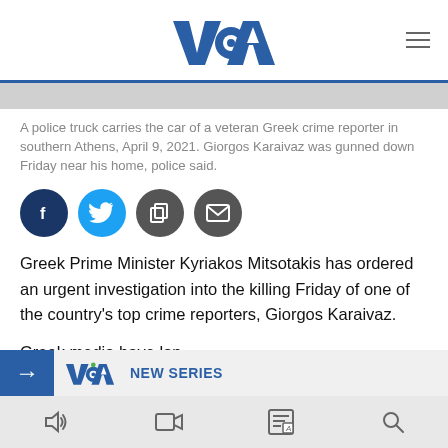VOA
[Figure (photo): Gray photo placeholder bar representing the top of an image of a police truck carrying a car]
A police truck carries the car of a veteran Greek crime reporter in southern Athens, April 9, 2021. Giorgos Karaivaz was gunned down Friday near his home, police said.
[Figure (other): Social sharing buttons: Facebook, Twitter, Copy, Email]
Greek Prime Minister Kyriakos Mitsotakis has ordered an urgent investigation into the killing Friday of one of the country's top crime reporters, Giorgos Karaivaz.
Greek media have lon
[Figure (other): Advertisement banner with blue arrow, VOA logo, and NEW SERIES text]
Bottom navigation toolbar with audio, video, language, and search icons